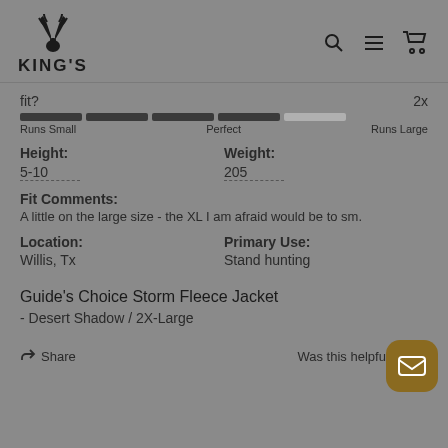[Figure (logo): King's camouflage brand logo with elk antler icon above the text KING'S]
fit?	2x
[Figure (infographic): Horizontal segmented progress bar with labels: Runs Small, Perfect, Runs Large. Four dark segments filled out of five total, indicating slightly above Perfect toward Runs Large.]
Height:	5-10
Weight:	205
Fit Comments:
A little on the large size - the XL I am afraid would be to sm.
Location:	Primary Use:
Willis, Tx	Stand hunting
Guide's Choice Storm Fleece Jacket
- Desert Shadow / 2X-Large
Share	Was this helpful?